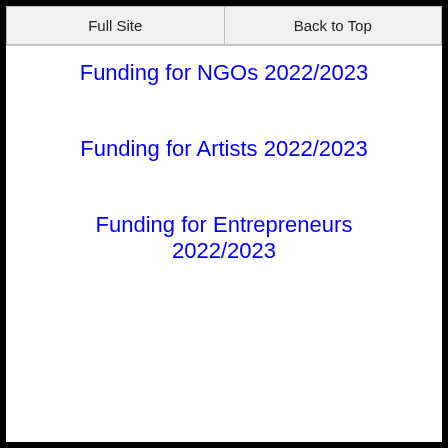Full Site | Back to Top
Funding for NGOs 2022/2023
Funding for Artists 2022/2023
Funding for Entrepreneurs 2022/2023